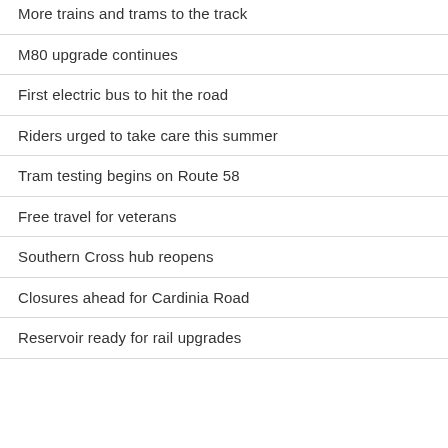More trains and trams to the track
M80 upgrade continues
First electric bus to hit the road
Riders urged to take care this summer
Tram testing begins on Route 58
Free travel for veterans
Southern Cross hub reopens
Closures ahead for Cardinia Road
Reservoir ready for rail upgrades